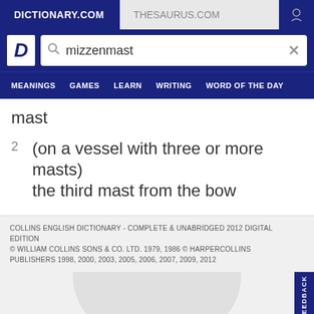DICTIONARY.COM | THESAURUS.COM
[Figure (screenshot): Dictionary.com logo with letter D and search bar containing 'mizzenmast']
MEANINGS  GAMES  LEARN  WRITING  WORD OF THE DAY
mast
2  (on a vessel with three or more masts) the third mast from the bow
COLLINS ENGLISH DICTIONARY - COMPLETE & UNABRIDGED 2012 DIGITAL EDITION
© WILLIAM COLLINS SONS & CO. LTD. 1979, 1986 © HARPERCOLLINS PUBLISHERS 1998, 2000, 2003, 2005, 2006, 2007, 2009, 2012
WORD OF THE DAY